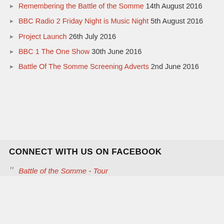Remembering the Battle of the Somme 14th August 2016
BBC Radio 2 Friday Night is Music Night 5th August 2016
Project Launch 26th July 2016
BBC 1 The One Show 30th June 2016
Battle Of The Somme Screening Adverts 2nd June 2016
CONNECT WITH US ON FACEBOOK
Battle of the Somme - Tour